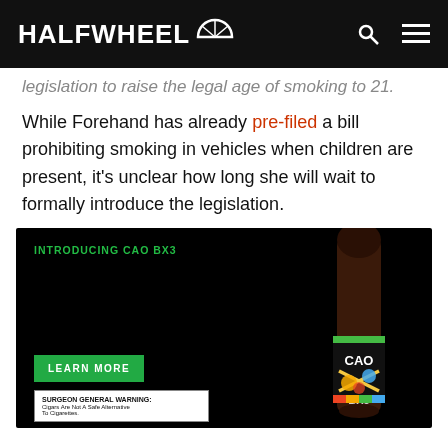HALFWHEEL
legislation to raise the legal age of smoking to 21.
While Forehand has already pre-filed a bill prohibiting smoking in vehicles when children are present, it's unclear how long she will wait to formally introduce the legislation.
[Figure (photo): Advertisement for CAO BX3 cigar. Black background with a cigar shown on the right side featuring a colorful band with CAO and BX3 branding. Green 'LEARN MORE' button and Surgeon General warning box shown at bottom left. Text reads 'INTRODUCING CAO BX3'.]